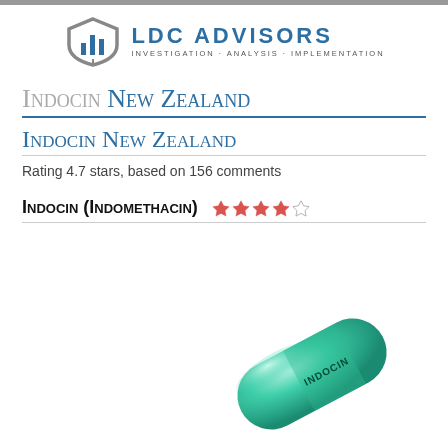[Figure (logo): LDC Advisors logo with shield/bar chart icon and text: LDC ADVISORS, INVESTIGATION · ANALYSIS · IMPLEMENTATION]
Indocin New Zealand
Indocin New Zealand
Rating 4.7 stars, based on 156 comments
Indocin (Indomethacin) ★★★★☆
[Figure (photo): Green Indocin pill/capsule with INDOCIN text on it]